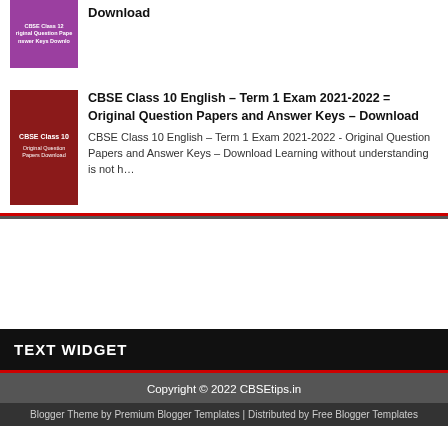[Figure (illustration): Purple thumbnail for CBSE Class 12 Original Question Papers and Answer Keys Download]
Download
[Figure (illustration): Dark red thumbnail for CBSE Class 10 Original Question Papers Download]
CBSE Class 10 English – Term 1 Exam 2021-2022 = Original Question Papers and Answer Keys – Download
CBSE Class 10 English – Term 1 Exam 2021-2022 - Original Question Papers and Answer Keys – Download Learning without understanding is not h…
TEXT WIDGET
Copyright © 2022 CBSEtips.in
Blogger Theme by Premium Blogger Templates | Distributed by Free Blogger Templates